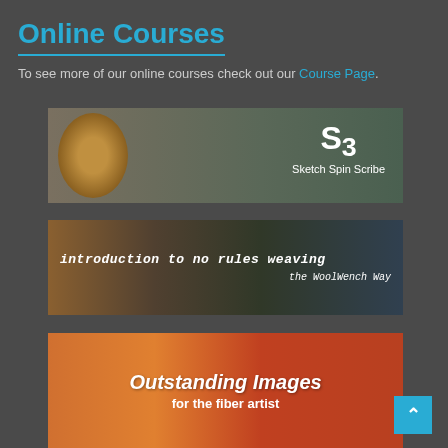Online Courses
To see more of our online courses check out our Course Page.
[Figure (photo): S3 Sketch Spin Scribe course banner showing hands weaving/spinning yarn with a wooden bowl, overlaid with text 'S3 Sketch Spin Scribe']
[Figure (photo): Introduction to No Rules Weaving the WoolWench Way course banner with colorful textile background]
[Figure (photo): Outstanding Images for the fiber artist course banner showing orange fiber/yarn on a spinning spindle]